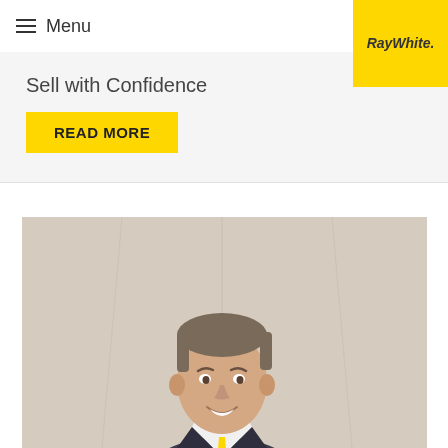Menu
Sell with Confidence
READ MORE
[Figure (photo): Professional headshot of a smiling man in a dark suit with a yellow tie, standing in front of a light beige/neutral background. Ray White real estate agent photo.]